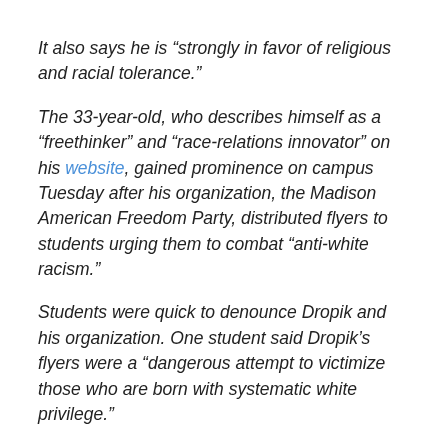It also says he is “strongly in favor of religious and racial tolerance.”
The 33-year-old, who describes himself as a “freethinker” and “race-relations innovator” on his website, gained prominence on campus Tuesday after his organization, the Madison American Freedom Party, distributed flyers to students urging them to combat “anti-white racism.”
Students were quick to denounce Dropik and his organization. One student said Dropik’s flyers were a “dangerous attempt to victimize those who are born with systematic white privilege.”
“Anti-white racism does not exist in American society period,” UW-Madison student Dane Skaar wrote in one Facebook response to the flyers that has been shared